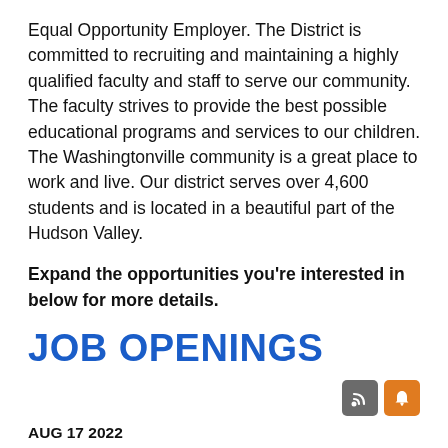Equal Opportunity Employer. The District is committed to recruiting and maintaining a highly qualified faculty and staff to serve our community. The faculty strives to provide the best possible educational programs and services to our children. The Washingtonville community is a great place to work and live. Our district serves over 4,600 students and is located in a beautiful part of the Hudson Valley.
Expand the opportunities you're interested in below for more details.
JOB OPENINGS
AUG 17 2022
Teaching Assistants